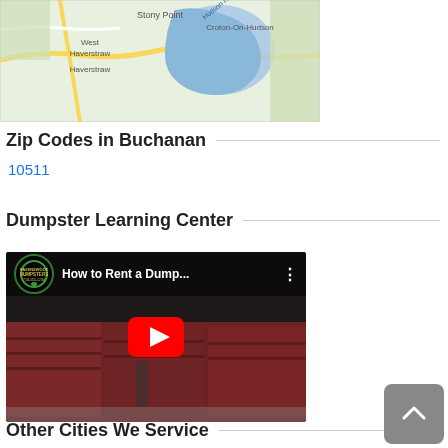[Figure (map): Google Maps screenshot showing West Haverstraw, Stony Point, Haverstraw, and Croton-On-Hudson area with Hudson River highlighted in blue.]
Zip Codes in Buchanan
10511
Dumpster Learning Center
[Figure (screenshot): YouTube video thumbnail for 'How to Rent a Dump...' by Ravenswood Dumpsters showing dumpsters in a yard with a red play button.]
Other Cities We Service